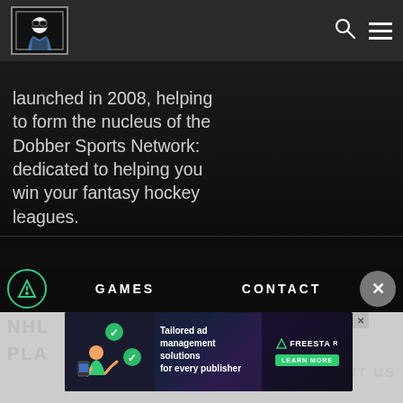Dobber Sports Network logo and navigation header
launched in 2008, helping to form the nucleus of the Dobber Sports Network: dedicated to helping you win your fantasy hockey leagues.
[Figure (screenshot): Dark hockey arena background image]
GAMES
CONTACT
NHL
PLA
[Figure (infographic): Freestar advertisement banner: Tailored ad management solutions for every publisher. LEARN MORE button. Shows cartoon figure with green checkmark circles.]
ABOUT US